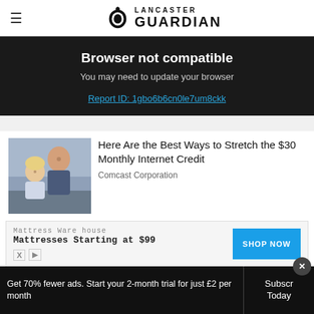Lancaster Guardian
Browser not compatible
You may need to update your browser
Report ID: 1gbo6b6cn0le7um8ckk
[Figure (photo): Photo of a man and young child looking at something together, used as article promo image]
Here Are the Best Ways to Stretch the $30 Monthly Internet Credit
Comcast Corporation
[Figure (other): Mattress Warehouse advertisement banner: 'Mattresses Starting at $99' with SHOP NOW button]
Get 70% fewer ads. Start your 2-month trial for just £2 per month
Subscribe Today